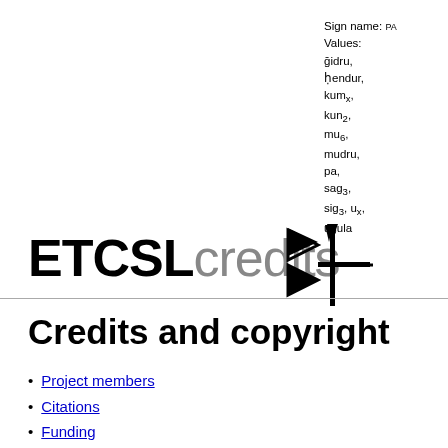Sign name: PA Values: ğidru, ḥendur, kumx, kun2, mu6, mudru, pa, sag3, sig3, ux, ugula
[Figure (illustration): Cuneiform sign PA rendered as SVG with arrow/cross shape]
ETCSLcredits
Credits and copyright
Project members
Citations
Funding
Acknowledgements